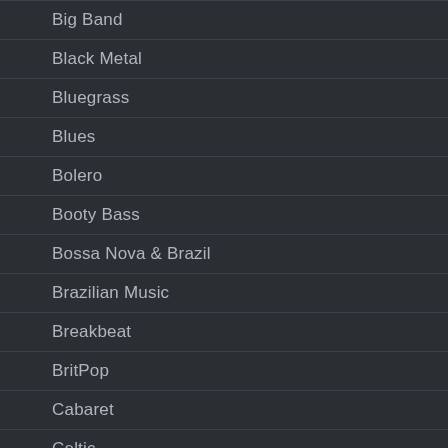Big Band
Black Metal
Bluegrass
Blues
Bolero
Booty Bass
Bossa Nova & Brazil
Brazilian Music
Breakbeat
BritPop
Cabaret
Celtic
Chanson
Chicago Blues
Children
Chill-out
Chillout
Chorus
Christian Rock